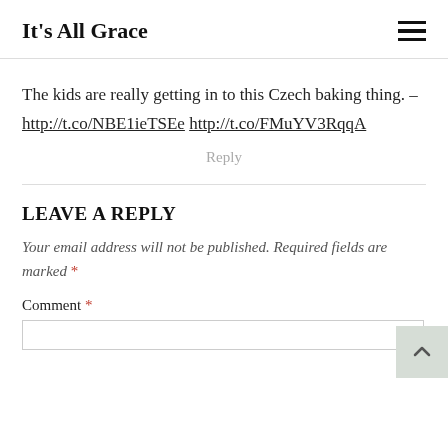It's All Grace
The kids are really getting in to this Czech baking thing. – http://t.co/NBE1ieTSEe http://t.co/FMuYV3RqqA
Reply
LEAVE A REPLY
Your email address will not be published. Required fields are marked *
Comment *